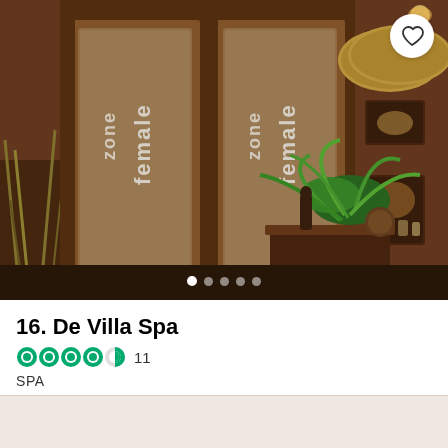[Figure (photo): Interior of De Villa Spa showing wooden double doors with 'female zone' text etched in glass, a reception/console table with a green plant and wooden decorative elements, and a 'De Villa' oval sign on the brown wood-paneled wall. A heart/favorite button is visible in the top right.]
16. De Villa Spa
4.5 stars rating with 11 reviews
SPA
Price indicators (4 boxes)